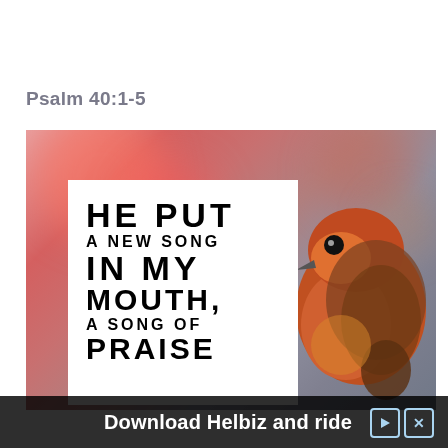Psalm 40:1-5
[Figure (photo): Photo of a robin bird with bokeh background (pink/red circles), overlaid with a white card containing bold uppercase text: HE PUT / A NEW SONG / IN MY / MOUTH, / A SONG OF / PRAISE]
Download Helbiz and ride